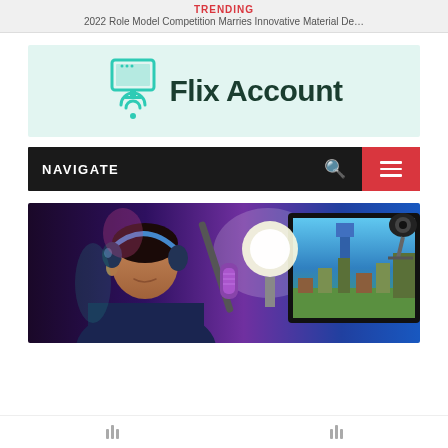TRENDING
2022 Role Model Competition Marries Innovative Material De…
[Figure (logo): Flix Account logo with teal monitor/shield icon and dark green bold text 'Flix Account' on light teal background]
NAVIGATE
[Figure (photo): A person wearing headphones and smiling, seated in front of a microphone on a boom arm, with gaming monitors showing colorful game content and purple/blue studio lighting in background]